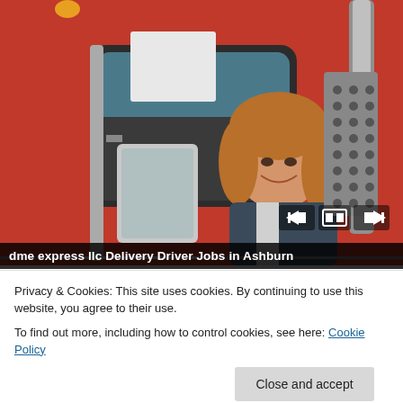[Figure (photo): A woman smiling while sitting in the cab of a large red semi-truck, leaning out the window. The truck has chrome mirrors and silver exhaust stacks.]
dme express llc Delivery Driver Jobs in Ashburn
Privacy & Cookies: This site uses cookies. By continuing to use this website, you agree to their use.
To find out more, including how to control cookies, see here: Cookie Policy
[Figure (photo): Partial view of a green outdoor scene, likely a garden or field, at the bottom of the page.]